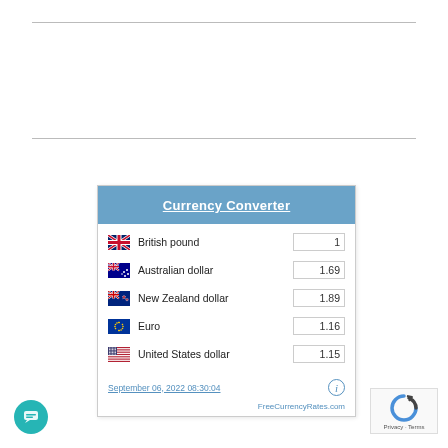| Currency | Value |
| --- | --- |
| British pound | 1 |
| Australian dollar | 1.69 |
| New Zealand dollar | 1.89 |
| Euro | 1.16 |
| United States dollar | 1.15 |
September 06, 2022 08:30:04
FreeCurrencyRates.com